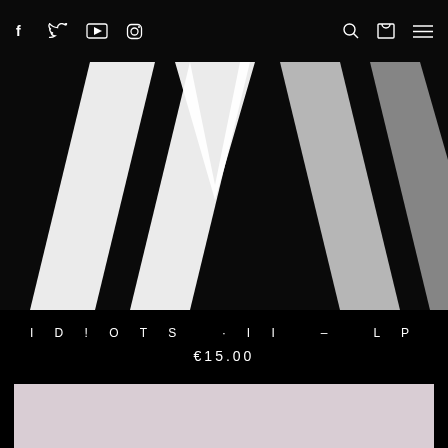Social icons (Facebook, Twitter, YouTube, Instagram) and navigation icons (search, cart, menu)
[Figure (illustration): Black and white abstract geometric image showing large V or W shaped white diagonal stripes on a black background, partial view of a band/artist logo]
ID!OTS - II - LP
€15.00
[Figure (photo): Light mauve/pink-grey colored rectangular panel at the bottom of the page]